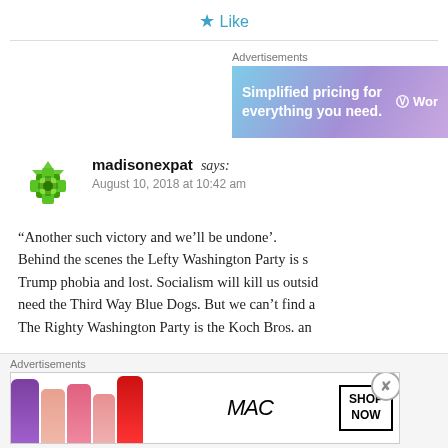★ Like
[Figure (screenshot): WordPress advertisement banner: 'Simplified pricing for everything you need.' with WordPress logo]
madisonexpat says:
August 10, 2018 at 10:42 am
“Another such victory and we’ll be undone’. Behind the scenes the Lefty Washington Party is s... Trump phobia and lost. Socialism will kill us outsid... need the Third Way Blue Dogs. But we can’t find a... The Righty Washington Party is the Koch Bros. an...
[Figure (screenshot): MAC Cosmetics advertisement banner with lipsticks and 'SHOP NOW' button]